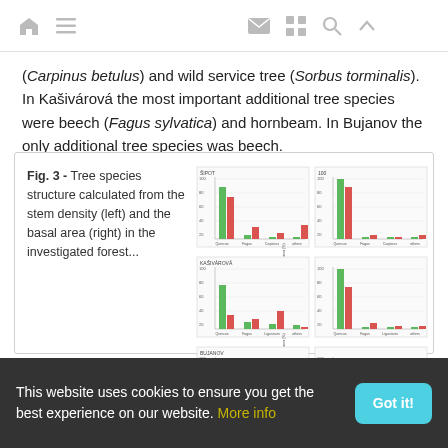[navigation icons: home, menu, mail, grid, search, up]
(Carpinus betulus) and wild service tree (Sorbus torminalis). In Kašivárová the most important additional tree species were beech (Fagus sylvatica) and hornbeam. In Bujanov the only additional tree species was beech.
Fig. 3 - Tree species structure calculated from the stem density (left) and the basal area (right) in the investigated forest...
[Figure (grouped-bar-chart): Six grouped bar charts arranged in 3 rows x 2 columns showing tree species structure by stem density (left column) and basal area (right column) for three forest sites. Each chart shows green and orange/red bars for tree species categories including Quercus, Fagus, Carpinus/Ligustrum, others.]
This website uses cookies to ensure you get the best experience on our website. More info